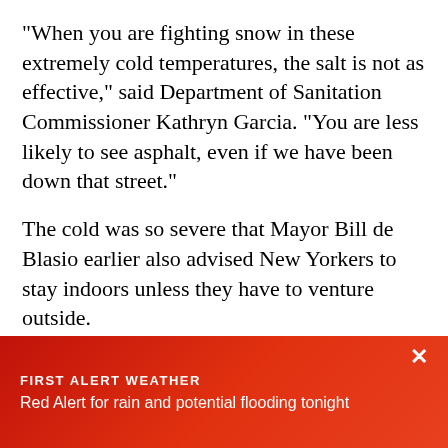"When you are fighting snow in these extremely cold temperatures, the salt is not as effective," said Department of Sanitation Commissioner Kathryn Garcia. "You are less likely to see asphalt, even if we have been down that street."
The cold was so severe that Mayor Bill de Blasio earlier also advised New Yorkers to stay indoors unless they have to venture outside.
[Figure (other): Audio player widget showing 0:00 / 0:53 with play button, progress bar, volume icon and options menu]
Listen to Dangerously Cold Temperatures Hit Tri-State Area
FIRST ALERT WEATHER
Red Alert for rain and potential flooding tonight